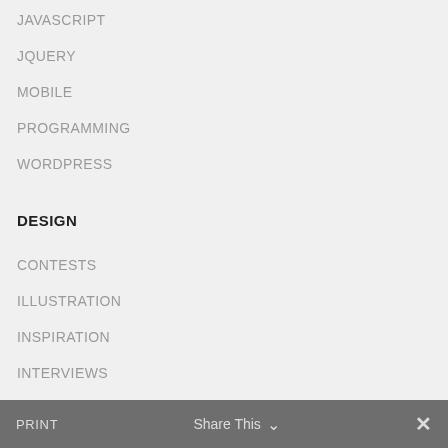JAVASCRIPT
JQUERY
MOBILE
PROGRAMMING
WORDPRESS
DESIGN
CONTESTS
ILLUSTRATION
INSPIRATION
INTERVIEWS
LOGO DESIGN
PHOTOSHOP
PRINT
Share This  ✓  ✕